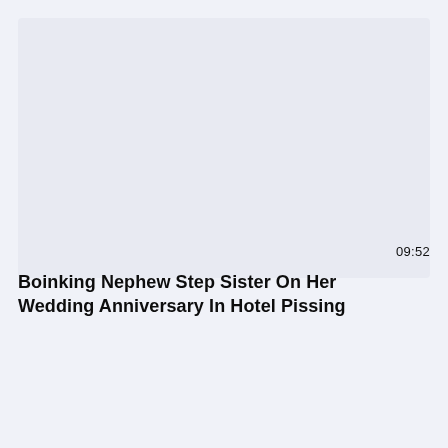[Figure (screenshot): Video thumbnail placeholder — large light-blue/grey blank area representing a video preview]
09:52
Boinking Nephew Step Sister On Her Wedding Anniversary In Hotel Pissing